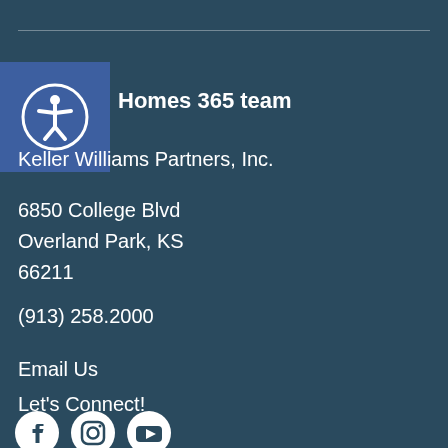[Figure (logo): Accessibility icon badge — circular figure with arms outstretched inside a circle, on a blue square background]
Homes 365 team
Keller Williams Partners, Inc.
6850 College Blvd
Overland Park, KS
66211
(913) 258.2000
Email Us
Let's Connect!
[Figure (logo): Social media icons: Facebook circle logo, Instagram camera logo, YouTube play button logo — all white on dark background]